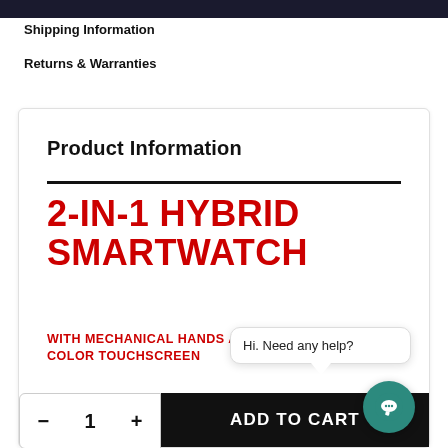Shipping Information
Returns & Warranties
Product Information
2-IN-1 HYBRID SMARTWATCH WITH MECHANICAL HANDS AND COLOR TOUCHSCREEN
Hi. Need any help?
Brushed Silver, Black Silicon Band / Regular
– 1 + ADD TO CART